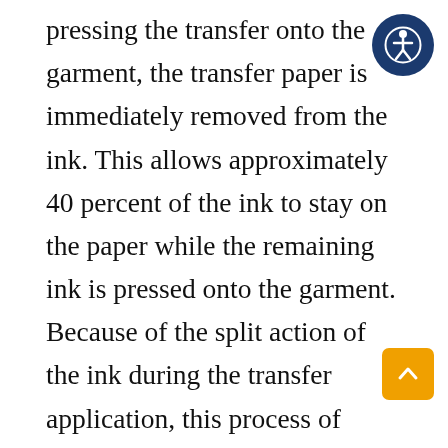pressing the transfer onto the garment, the transfer paper is immediately removed from the ink. This allows approximately 40 percent of the ink to stay on the paper while the remaining ink is pressed onto the garment. Because of the split action of the ink during the transfer application, this process of transfer ink and paper combination is called hot-split.

Once applied to the garment the hot-split ink has a soft finish as the transfer ink is now pressed down into the fibers of the fabric without producing an ink film surface which